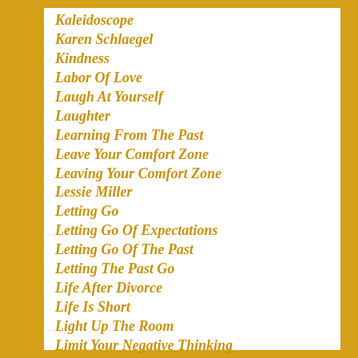Kaleidoscope
Karen Schlaegel
Kindness
Labor Of Love
Laugh At Yourself
Laughter
Learning From The Past
Leave Your Comfort Zone
Leaving Your Comfort Zone
Lessie Miller
Letting Go
Letting Go Of Expectations
Letting Go Of The Past
Letting The Past Go
Life After Divorce
Life Is Short
Light Up The Room
Limit Your Negative Thinking